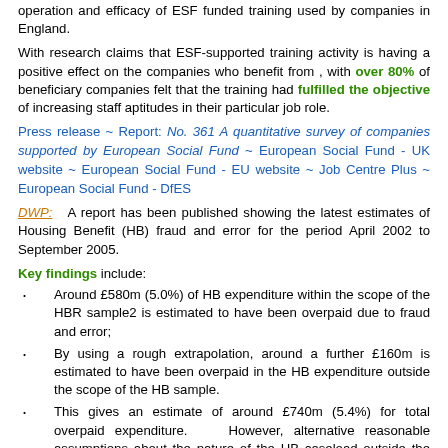operation and efficacy of ESF funded training used by companies in England.
With research claims that ESF-supported training activity is having a positive effect on the companies who benefit from , with over 80% of beneficiary companies felt that the training had fulfilled the objective of increasing staff aptitudes in their particular job role.
Press release ~ Report: No. 361 A quantitative survey of companies supported by European Social Fund ~ European Social Fund - UK website ~ European Social Fund - EU website ~ Job Centre Plus ~ European Social Fund - DfES
DWP: A report has been published showing the latest estimates of Housing Benefit (HB) fraud and error for the period April 2002 to September 2005.
Key findings include:
Around £580m (5.0%) of HB expenditure within the scope of the HBR sample2 is estimated to have been overpaid due to fraud and error;
By using a rough extrapolation, around a further £160m is estimated to have been overpaid in the HB expenditure outside the scope of the HB sample.
This gives an estimate of around £740m (5.4%) for total overpaid expenditure. However, alternative reasonable assumptions about the nature of the HB caseload outside the scope of the sample could have resulted in an estimate that was £50m different.
Press release ~ Report: 'Fraud and Error in Housing Benefit' ~ Targeting Benefit Fraud ~ Reporting Benefit Fraud - Directgov ~ Good practice in tackling external fraud – NAO, HM Treasury ~ Benefit Fraud Inspectorate